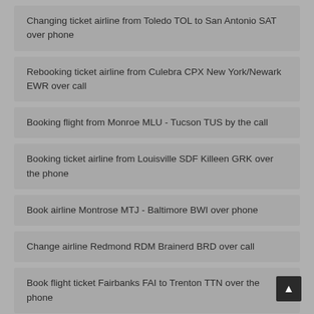Changing ticket airline from Toledo TOL to San Antonio SAT over phone
Rebooking ticket airline from Culebra CPX New York/Newark EWR over call
Booking flight from Monroe MLU - Tucson TUS by the call
Booking ticket airline from Louisville SDF Killeen GRK over the phone
Book airline Montrose MTJ - Baltimore BWI over phone
Change airline Redmond RDM Brainerd BRD over call
Book flight ticket Fairbanks FAI to Trenton TTN over the phone